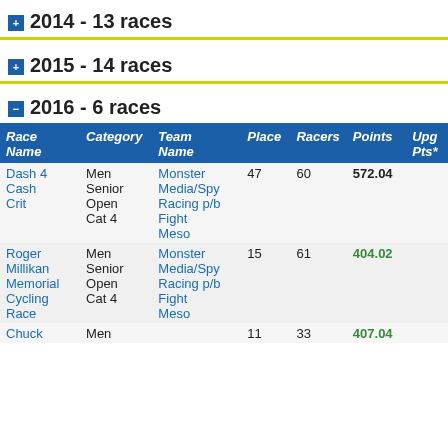2014 - 13 races
2015 - 14 races
2016 - 6 races
|  | Race Name | Category | Team Name | Place | Racers | Points | Upg Pts* |
| --- | --- | --- | --- | --- | --- | --- | --- |
| Dash 4 Cash Crit | Men Senior Open Cat 4 | Monster Media/Spy Racing p/b Fight Meso | 47 | 60 | 572.04 |  |
| Roger Millikan Memorial Cycling Race | Men Senior Open Cat 4 | Monster Media/Spy Racing p/b Fight Meso | 15 | 61 | 404.02 |  |
| Chuck | Men |  | 11 | 33 | 407.04 |  |